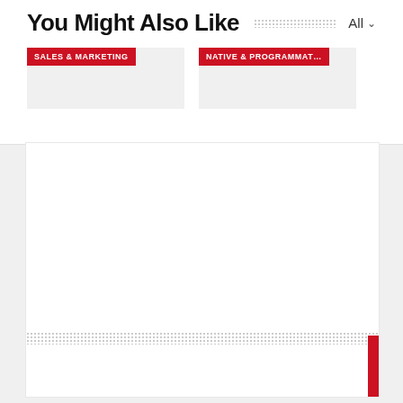You Might Also Like
All
[Figure (screenshot): Card with red badge label: SALES & MARKETING on grey background]
[Figure (screenshot): Card with red badge label: NATIVE & PROGRAMMAT... on grey background]
[Figure (screenshot): Large white content card area with dotted line bar and red accent strip on the bottom right]